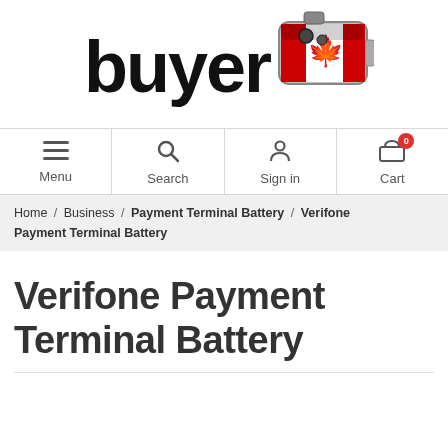[Figure (logo): BuyerZone or similar Canadian battery retailer logo: bold black text 'buyer' with a red and white Canadian flag-themed battery illustration on the right]
[Figure (screenshot): Navigation bar with four items: Menu (hamburger icon), Search (magnifying glass icon), Sign in (person icon), Cart (cart icon with red badge showing 0)]
Home / Business / Payment Terminal Battery / Verifone Payment Terminal Battery
Verifone Payment Terminal Battery